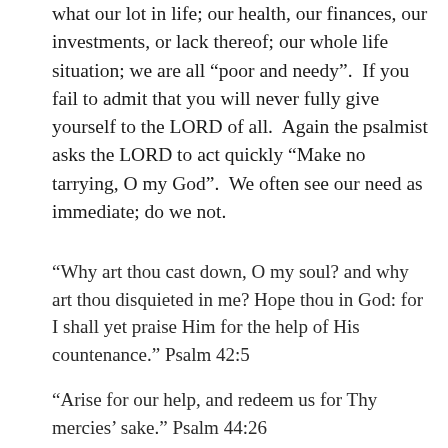what our lot in life; our health, our finances, our investments, or lack thereof; our whole life situation; we are all “poor and needy”.  If you fail to admit that you will never fully give yourself to the LORD of all.  Again the psalmist asks the LORD to act quickly “Make no tarrying, O my God”.  We often see our need as immediate; do we not.
“Why art thou cast down, O my soul? and why art thou disquieted in me? Hope thou in God: for I shall yet praise Him for the help of His countenance.” Psalm 42:5
“Arise for our help, and redeem us for Thy mercies’ sake.” Psalm 44:26